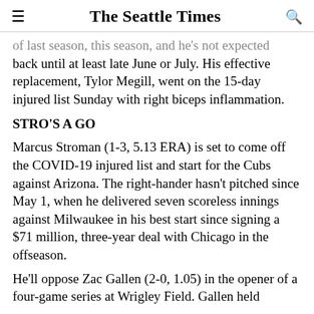The Seattle Times
of last season, this season, and he's not expected back until at least late June or July. His effective replacement, Tylor Megill, went on the 15-day injured list Sunday with right biceps inflammation.
STRO'S A GO
Marcus Stroman (1-3, 5.13 ERA) is set to come off the COVID-19 injured list and start for the Cubs against Arizona. The right-hander hasn't pitched since May 1, when he delivered seven scoreless innings against Milwaukee in his best start since signing a $71 million, three-year deal with Chicago in the offseason.
He'll oppose Zac Gallen (2-0, 1.05) in the opener of a four-game series at Wrigley Field. Gallen held